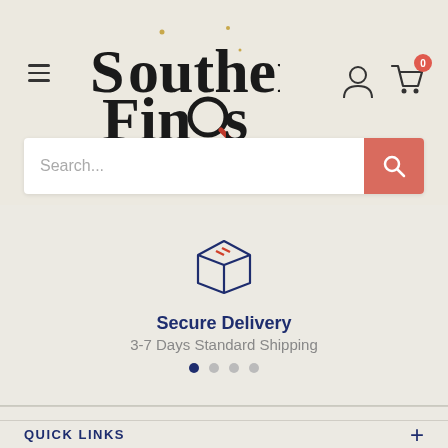[Figure (logo): Southern Finds logo with magnifying glass icon and decorative text]
Search...
[Figure (illustration): Box/package icon in dark blue outline with red stripe, representing secure delivery]
Secure Delivery
3-7 Days Standard Shipping
ABOUT US
QUICK LINKS